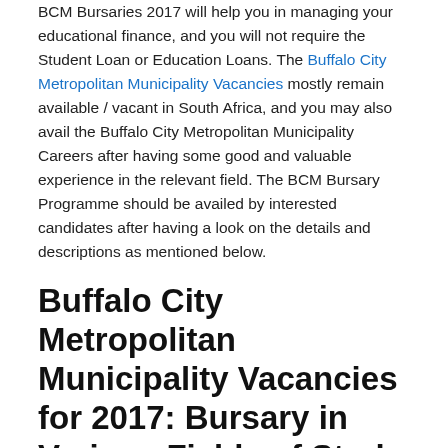BCM Bursaries 2017 will help you in managing your educational finance, and you will not require the Student Loan or Education Loans. The Buffalo City Metropolitan Municipality Vacancies mostly remain available / vacant in South Africa, and you may also avail the Buffalo City Metropolitan Municipality Careers after having some good and valuable experience in the relevant field. The BCM Bursary Programme should be availed by interested candidates after having a look on the details and descriptions as mentioned below.
Buffalo City Metropolitan Municipality Vacancies for 2017: Bursary in Various Fields of Study
The Buffalo City Metropolitan Municipality is offering financial assistance to students, in the form of study bursaries for the 2017 academic year. This is an Executive Mayoral driven initiative which is done as part of the municipality's development of human capital, and applications are invited from students of previously disadvantaged backgrounds. The Bursary Fund is intended to assist